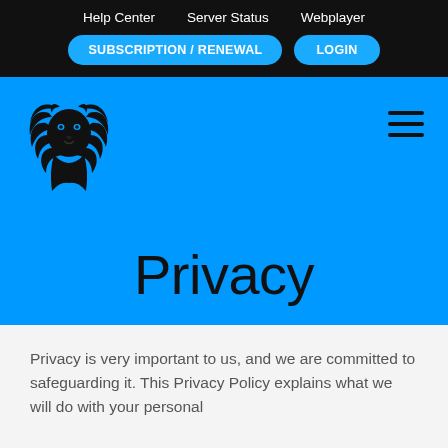Help Center   Server Status   Webplayer
SUBSCRIPTION / RENEWAL
LOGIN
[Figure (logo): Black lion head logo mark]
Privacy
Privacy is very important to us, and we are committed to safeguarding it. This Privacy Policy explains what we will do with your personal